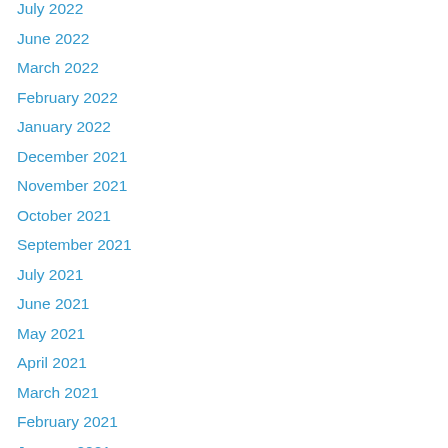July 2022
June 2022
March 2022
February 2022
January 2022
December 2021
November 2021
October 2021
September 2021
July 2021
June 2021
May 2021
April 2021
March 2021
February 2021
January 2021
December 2020
November 2020
October 2020
September 2020
August 2020